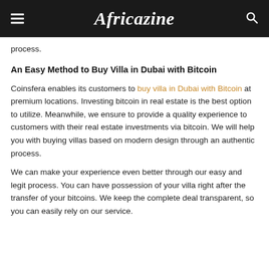Africazine
process.
An Easy Method to Buy Villa in Dubai with Bitcoin
Coinsfera enables its customers to buy villa in Dubai with Bitcoin at premium locations. Investing bitcoin in real estate is the best option to utilize. Meanwhile, we ensure to provide a quality experience to customers with their real estate investments via bitcoin. We will help you with buying villas based on modern design through an authentic process.
We can make your experience even better through our easy and legit process. You can have possession of your villa right after the transfer of your bitcoins. We keep the complete deal transparent, so you can easily rely on our service.